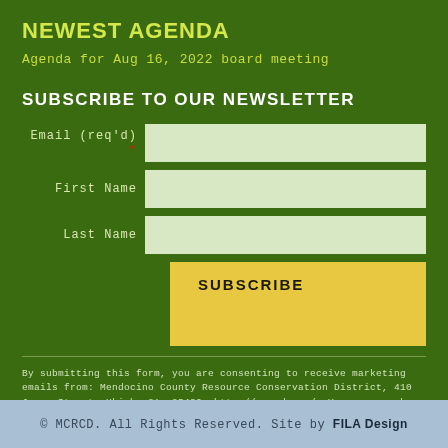NEWEST AGENDA
Agenda for Aug 16, 2022 board meeting
SUBSCRIBE TO OUR NEWSLETTER
Email (req'd) *
First Name
Last Name
SUBSCRIBE
By submitting this form, you are consenting to receive marketing emails from: Mendocino County Resource Conservation District, 410 Jones Street, Ukiah, CA, 95482, http://mcrcd.org/. You can revoke your consent to receive emails at any time by using the SafeUnsubscribe® link, found at the bottom of every email. Emails are serviced by Constant Contact
© MCRCD. All Rights Reserved. Site by FILA Design